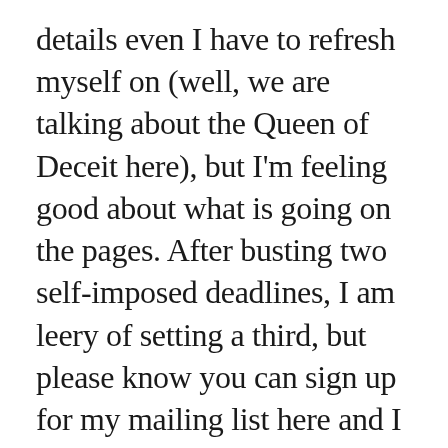details even I have to refresh myself on (well, we are talking about the Queen of Deceit here), but I'm feeling good about what is going on the pages. After busting two self-imposed deadlines, I am leery of setting a third, but please know you can sign up for my mailing list here and I will let you know when we are closer, and when it is actually out. As always, I promise I won't spam you or bore